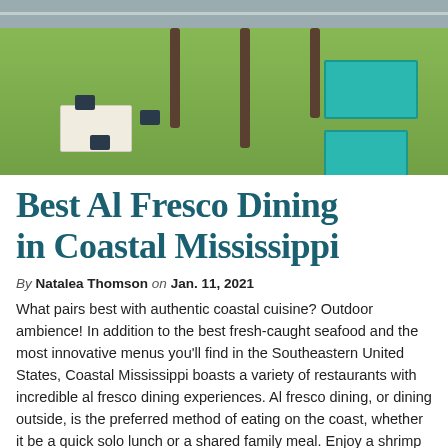[Figure (photo): Aerial view of an outdoor dining area near a road in Coastal Mississippi, showing picnic tables with teal/turquoise color, a white dining table with chairs and people seated, green grass, palm trees, and a road at the top.]
Best Al Fresco Dining in Coastal Mississippi
By Natalea Thomson on Jan. 11, 2021
What pairs best with authentic coastal cuisine? Outdoor ambience! In addition to the best fresh-caught seafood and the most innovative menus you'll find in the Southeastern United States, Coastal Mississippi boasts a variety of restaurants with incredible al fresco dining experiences. Al fresco dining, or dining outside, is the preferred method of eating on the coast, whether it be a quick solo lunch or a shared family meal. Enjoy a shrimp po-boy as you watch the waves roll in from the Gulf of Mexico, or savor chargrilled oysters over...